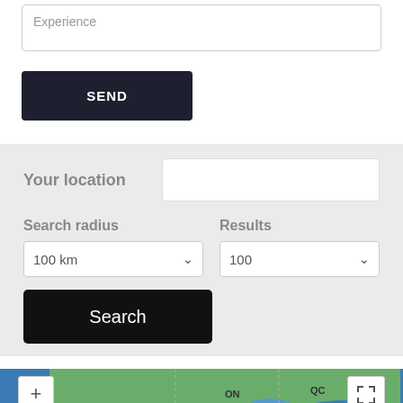Experience
SEND
Your location
Search radius
Results
100 km
100
Search
[Figure (map): Map showing North America with Canadian provinces and US states labeled. Labels visible include ON, QC, WA, MT, ND, MN, ME, PE, NB. Map has zoom controls (+ and -) on left and fullscreen button on right.]